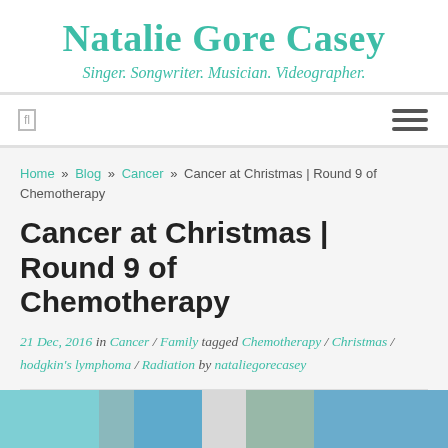Natalie Gore Casey
Singer. Songwriter. Musician. Videographer.
Home » Blog » Cancer » Cancer at Christmas | Round 9 of Chemotherapy
Cancer at Christmas | Round 9 of Chemotherapy
21 Dec, 2016 in Cancer / Family tagged Chemotherapy / Christmas / hodgkin's lymphoma / Radiation by nataliegorecasey
[Figure (photo): Partial photo strip at the bottom of the page showing outdoor/holiday scene]